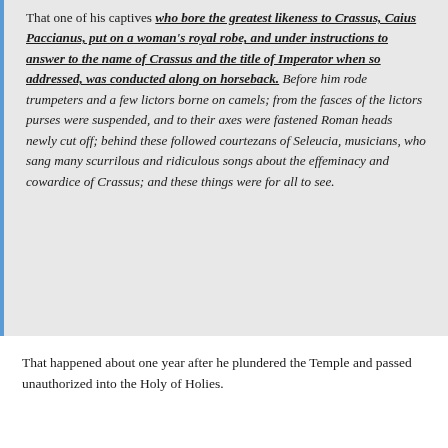That one of his captives who bore the greatest likeness to Crassus, Caius Paccianus, put on a woman's royal robe, and under instructions to answer to the name of Crassus and the title of Imperator when so addressed, was conducted along on horseback. Before him rode trumpeters and a few lictors borne on camels; from the fasces of the lictors purses were suspended, and to their axes were fastened Roman heads newly cut off; behind these followed courtezans of Seleucia, musicians, who sang many scurrilous and ridiculous songs about the effeminacy and cowardice of Crassus; and these things were for all to see.
That happened about one year after he plundered the Temple and passed unauthorized into the Holy of Holies.